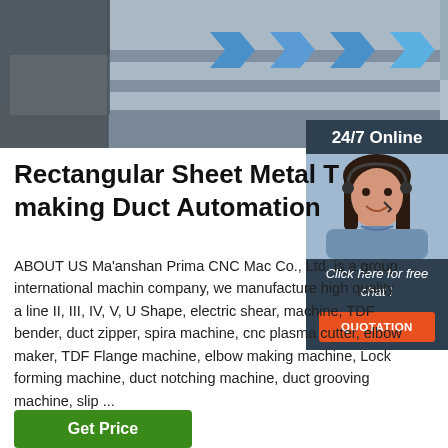[Figure (photo): Industrial conveyor belt or sheet metal duct-making machinery in a factory setting, viewed from above, showing blue roller/guide components on a grey metal track]
[Figure (photo): 24/7 Online chat agent — woman wearing a headset, smiling, with dark hair, in a blue blouse, overlaid on a dark navy sidebar panel with 'Click here for free chat!' text and a QUOTATION button]
Rectangular Sheet Metal T making Duct Automation
ABOUT US Ma'anshan Prima CNC Mac Co., Ltd. is a group international machin company, we manufacture high quality a line II, III, IV, V, U Shape, electric shear, machine, TDF bender, duct zipper, spira machine, cnc plasma cutter, elbow maker, TDF Flange machine, elbow making machine, Lock forming machine, duct notching machine, duct grooving machine, slip ...
Get Price